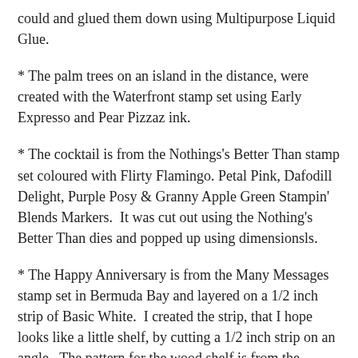could and glued them down using Multipurpose Liquid Glue.
* The palm trees on an island in the distance, were created with the Waterfront stamp set using Early Expresso and Pear Pizzaz ink.
* The cocktail is from the Nothings's Better Than stamp set coloured with Flirty Flamingo. Petal Pink, Dafodill Delight, Purple Posy & Granny Apple Green Stampin' Blends Markers.  It was cut out using the Nothing's Better Than dies and popped up using dimensionsls.
* The Happy Anniversary is from the Many Messages stamp set in Bermuda Bay and layered on a 1/2 inch strip of Basic White.  I created the strip, that I hope looks like a little shelf, by cutting a 1/2 inch strip on an angle.  The pattern for the wood shelf is from the Whisky Business stamp set – just 'cause I've been wanting to try to create a shelf out of this neat little stamp.  I stamped it first with Soft Suede and then coloured it with the Bronze Stampin' Blend Markers. But more on how — it runs off the page.